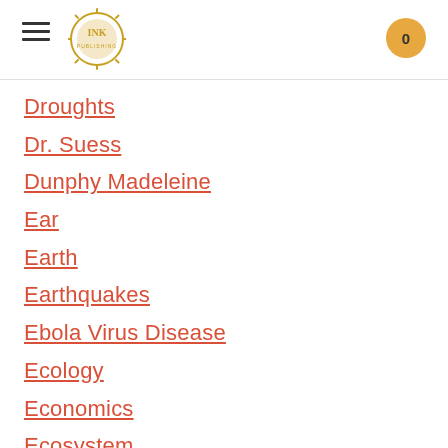INK [logo] | 0
Droughts
Dr. Suess
Dunphy Madeleine
Ear
Earth
Earthquakes
Ebola Virus Disease
Ecology
Economics
Ecosystem
Edison Thomas A
Education
Egypt
Eiffel-gustave-18321923
Eiffel tower